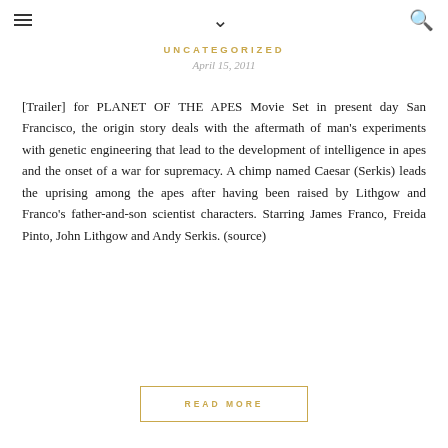≡  ∨  🔍
UNCATEGORIZED
April 15, 2011
[Trailer] for PLANET OF THE APES Movie Set in present day San Francisco, the origin story deals with the aftermath of man's experiments with genetic engineering that lead to the development of intelligence in apes and the onset of a war for supremacy. A chimp named Caesar (Serkis) leads the uprising among the apes after having been raised by Lithgow and Franco's father-and-son scientist characters. Starring James Franco, Freida Pinto, John Lithgow and Andy Serkis. (source)
READ MORE